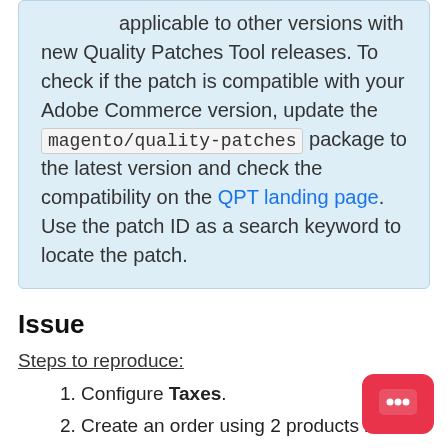applicable to other versions with new Quality Patches Tool releases. To check if the patch is compatible with your Adobe Commerce version, update the magento/quality-patches package to the latest version and check the compatibility on the QPT landing page. Use the patch ID as a search keyword to locate the patch.
Issue
Steps to reproduce:
1. Configure Taxes.
2. Create an order using 2 products in the